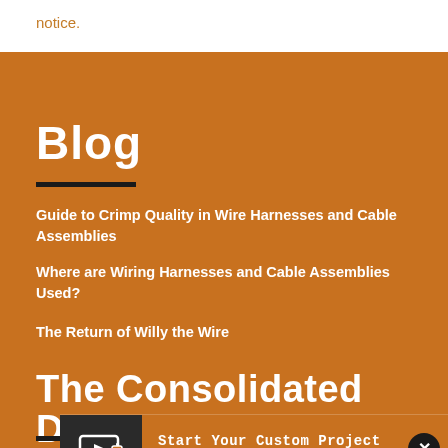notice.
Blog
Guide to Crimp Quality in Wire Harnesses and Cable Assemblies
Where are Wiring Harnesses and Cable Assemblies Used?
The Return of Willy the Wire
The Consolidated Difference
Consolidated Electronic Wire & Cable is a full line